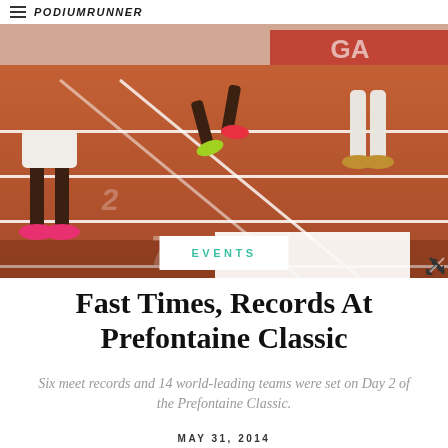PodiumRunner
[Figure (photo): Runners on a red athletics track, showing legs and feet, taken from track level. White lane markings visible on red-brown track surface.]
EVENTS
Fast Times, Records At Prefontaine Classic
Six meet records and 14 world-leading teams were set on Day 2 of the Prefontaine Classic.
MAY 31, 2014